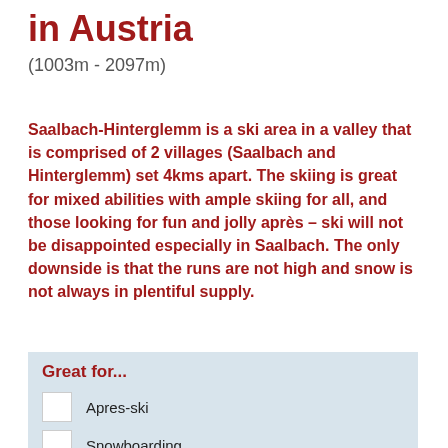in Austria
(1003m - 2097m)
Saalbach-Hinterglemm is a ski area in a valley that is comprised of 2 villages (Saalbach and Hinterglemm) set 4kms apart. The skiing is great for mixed abilities with ample skiing for all, and those looking for fun and jolly après – ski will not be disappointed especially in Saalbach. The only downside is that the runs are not high and snow is not always in plentiful supply.
Great for...
Apres-ski
Snowboarding